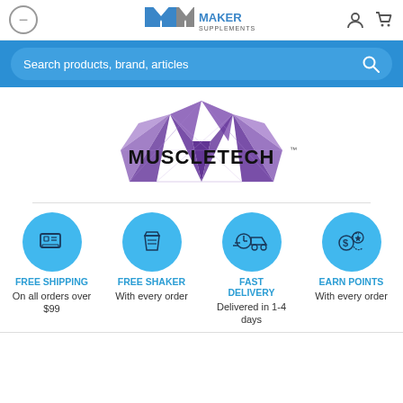Maker Supplements — header with back button, logo, user and cart icons
Search products, brand, articles
[Figure (logo): MuscleTech brand logo — large purple geometric M with MUSCLETECH text]
FREE SHIPPING — On all orders over $99
FREE SHAKER — With every order
FAST DELIVERY — Delivered in 1-4 days
EARN POINTS — With every order